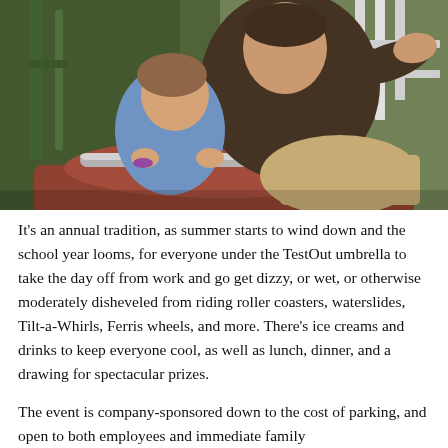[Figure (photo): A man and a young girl riding a carnival/amusement park ride together. The man is smiling and pointing, wearing a dark brown t-shirt. The girl is gripping a metal bar and grinning. The ride car appears to be reddish-brown. Green foliage and ride structure visible in the background.]
It's an annual tradition, as summer starts to wind down and the school year looms, for everyone under the TestOut umbrella to take the day off from work and go get dizzy, or wet, or otherwise moderately disheveled from riding roller coasters, waterslides, Tilt-a-Whirls, Ferris wheels, and more. There's ice creams and drinks to keep everyone cool, as well as lunch, dinner, and a drawing for spectacular prizes.
The event is company-sponsored down to the cost of parking, and open to both employees and immediate family